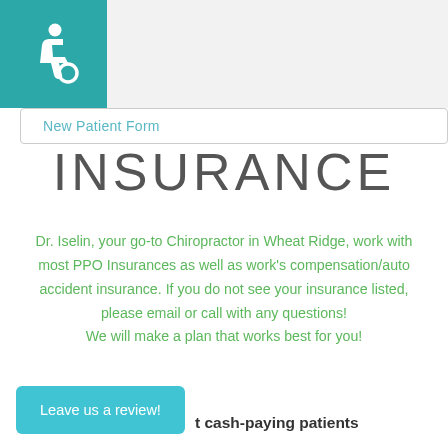New Patient Form
INSURANCE
Dr. Iselin, your go-to Chiropractor in Wheat Ridge, work with most PPO Insurances as well as work's compensation/auto accident insurance. If you do not see your insurance listed, please email or call with any questions! We will make a plan that works best for you!
t cash-paying patients